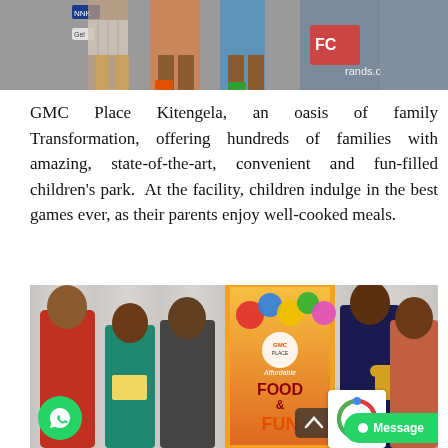[Figure (photo): Partial photo of people standing at an event, showing legs and lower bodies, with a banner in the background reading 'brands.or' and 'FC' logos visible]
GMC Place Kitengela, an oasis of family Transformation, offering hundreds of families with amazing, state-of-the-art, convenient and fun-filled children's park.  At the facility, children indulge in the best games ever, as their parents enjoy well-cooked meals.
[Figure (photo): Group photo of four people standing in front of a colorful event banner reading 'Affordable FOOD & FUN' at GMC Place Kitengela. One person holds a certificate, another holds a trophy. A WhatsApp button, Message button, and reCAPTCHA icon are overlaid on the image.]